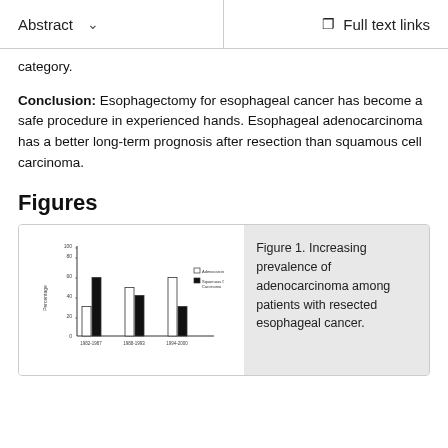Abstract   Full text links
category.
Conclusion: Esophagectomy for esophageal cancer has become a safe procedure in experienced hands. Esophageal adenocarcinoma has a better long-term prognosis after resection than squamous cell carcinoma.
Figures
[Figure (grouped-bar-chart): Increasing prevalence of adenocarcinoma among patients with resected esophageal cancer]
Figure 1. Increasing prevalence of adenocarcinoma among patients with resected esophageal cancer.